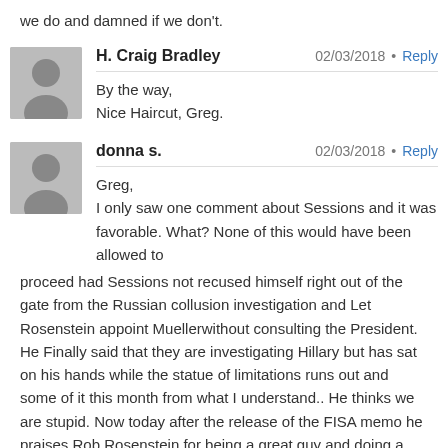we do and damned if we don't.
H. Craig Bradley
02/03/2018 · Reply
By the way,
Nice Haircut, Greg.
donna s.
02/03/2018 · Reply
Greg,
I only saw one comment about Sessions and it was favorable. What? None of this would have been allowed to proceed had Sessions not recused himself right out of the gate from the Russian collusion investigation and Let Rosenstein appoint Muellerwithout consulting the President. He Finally said that they are investigating Hillary but has sat on his hands while the statue of limitations runs out and some of it this month from what I understand.. He thinks we are stupid. Now today after the release of the FISA memo he praises Rob Rosenstein for being a great guy and doing a great job when he was up to his